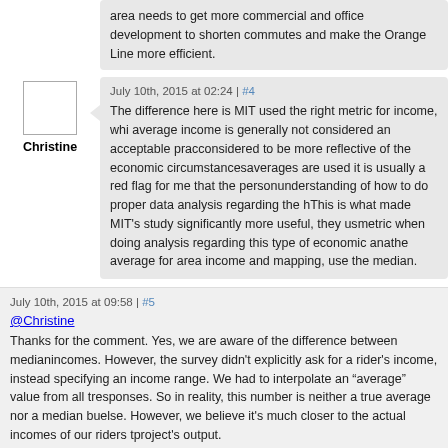area needs to get more commercial and office development to shorten commutes and make the Orange Line more efficient.
July 10th, 2015 at 02:24 | #4
Christine
The difference here is MIT used the right metric for income, which average income is generally not considered an acceptable practice, median is considered to be more reflective of the economic circumstances. When averages are used it is usually a red flag for me that the person lacks understanding of how to do proper data analysis regarding the household. This is what made MIT's study significantly more useful, they used the right metric when doing analysis regarding this type of economic analysis. When measuring the average for area income and mapping, use the median.
July 10th, 2015 at 09:58 | #5
@Christine
Thanks for the comment. Yes, we are aware of the difference between median and average incomes. However, the survey didn't explicitly ask for a rider's income, instead they were specifying an income range. We had to interpolate an "average" value from all the survey responses. So in reality, this number is neither a true average nor a median but something else. However, we believe it's much closer to the actual incomes of our riders than the MIT project's output.
Again, the difference between this data and that from the MIT project is we are looking at incomes of actual riders' households, whereas the MIT work looked at income for all households within a proximity of the station regardless of whether they are riders.